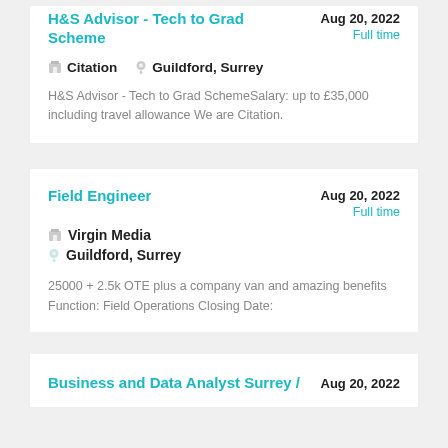H&S Advisor - Tech to Grad Scheme
Aug 20, 2022
Full time
Citation
Guildford, Surrey
H&S Advisor - Tech to Grad SchemeSalary: up to £35,000 including travel allowance We are Citation.
Field Engineer
Aug 20, 2022
Full time
Virgin Media
Guildford, Surrey
25000 + 2.5k OTE plus a company van and amazing benefits Function: Field Operations Closing Date:
Business and Data Analyst Surrey /
Aug 20, 2022